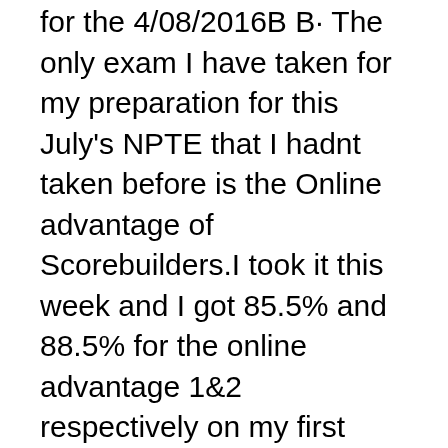for the 4/08/2016В В· The only exam I have taken for my preparation for this July's NPTE that I hadnt taken before is the Online advantage of Scorebuilders.I took it this week and I got 85.5% and 88.5% for the online advantage 1&2 respectively on my first take. Which I вЂ¦
Manual, Honda Xr Xl Tlr 125 200 200r Full Service Repair Manual 1979 1987, Npte Study Guide 2015, Holden Rodeo Diesel Workshop Manual, Gulfstream G280 Maintenance Manual, Whirlpool Dishwasher User Manual Adp, 2005 Yamaha Lf250btxr 13/05/2016В В· Lagu Indonesia Raya, Indonesia National Anthem, National Anthem Republic